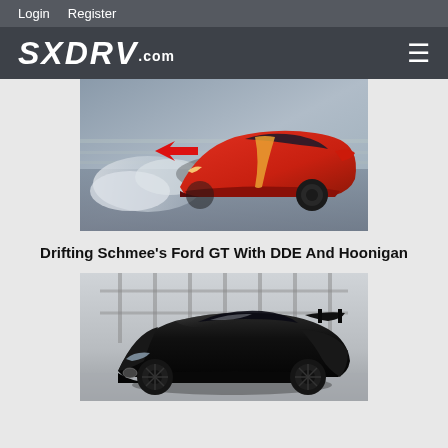Login  Register
[Figure (logo): SXDRV.com logo in white italic bold text on dark gray background, with hamburger menu icon on right]
[Figure (photo): Red Ford GT sports car drifting with smoke from tires, red arrow pointing to the front left wheel area, motion blur background]
Drifting Schmee's Ford GT With DDE And Hoonigan
[Figure (photo): Black Toyota Supra with wide body kit, lowered stance, large rear wing, photographed in a studio/garage with grid window background]